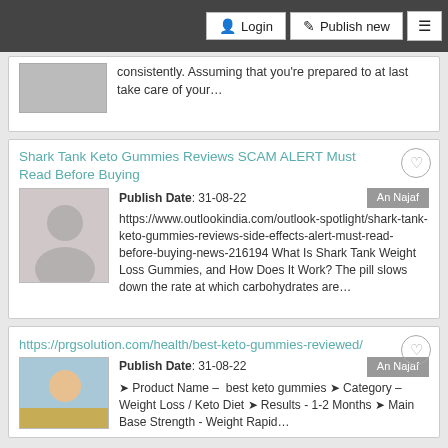Login | Publish new | Menu
consistently. Assuming that you're prepared to at last take care of your...
Shark Tank Keto Gummies Reviews SCAM ALERT Must Read Before Buying
Publish Date: 31-08-22  An Najaf  https://www.outlookindia.com/outlook-spotlight/shark-tank-keto-gummies-reviews-side-effects-alert-must-read-before-buying-news-216194 What Is Shark Tank Weight Loss Gummies, and How Does It Work? The pill slows down the rate at which carbohydrates are...
https://prgsolution.com/health/best-keto-gummies-reviewed/
Publish Date: 31-08-22  An Najaf  ➤ Product Name – best keto gummies ➤ Category – Weight Loss / Keto Diet ➤ Results - 1-2 Months ➤ Main Benefits - Weight Rapid...